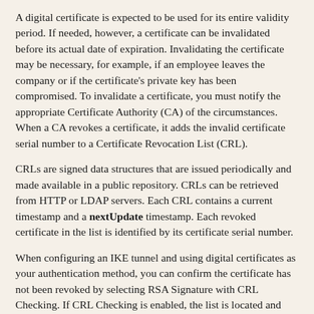A digital certificate is expected to be used for its entire validity period. If needed, however, a certificate can be invalidated before its actual date of expiration. Invalidating the certificate may be necessary, for example, if an employee leaves the company or if the certificate's private key has been compromised. To invalidate a certificate, you must notify the appropriate Certificate Authority (CA) of the circumstances. When a CA revokes a certificate, it adds the invalid certificate serial number to a Certificate Revocation List (CRL).
CRLs are signed data structures that are issued periodically and made available in a public repository. CRLs can be retrieved from HTTP or LDAP servers. Each CRL contains a current timestamp and a nextUpdate timestamp. Each revoked certificate in the list is identified by its certificate serial number.
When configuring an IKE tunnel and using digital certificates as your authentication method, you can confirm the certificate has not been revoked by selecting RSA Signature with CRL Checking. If CRL Checking is enabled, the list is located and checked during the negotiation process to establish the key management tunnel.
Note: To use this feature of IP Security, your system must be configured to use a SOCKS server (version 4 for HTTP servers), an LDAP server, or both. If you